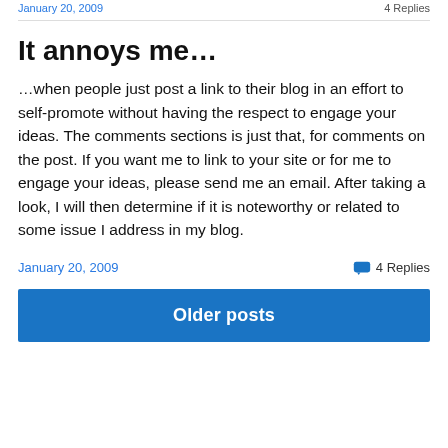January 20, 2009    4 Replies
It annoys me…
…when people just post a link to their blog in an effort to self-promote without having the respect to engage your ideas. The comments sections is just that, for comments on the post. If you want me to link to your site or for me to engage your ideas, please send me an email. After taking a look, I will then determine if it is noteworthy or related to some issue I address in my blog.
January 20, 2009    4 Replies
Older posts